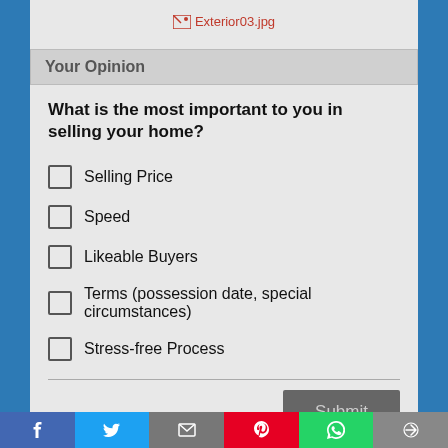[Figure (photo): Broken image placeholder labeled Exterior03.jpg]
Your Opinion
What is the most important to you in selling your home?
Selling Price
Speed
Likeable Buyers
Terms (possession date, special circumstances)
Stress-free Process
f  Twitter  Email  Pinterest  WhatsApp  Link